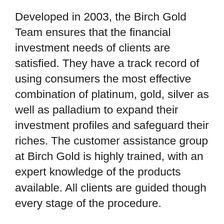Developed in 2003, the Birch Gold Team ensures that the financial investment needs of clients are satisfied. They have a track record of using consumers the most effective combination of platinum, gold, silver as well as palladium to expand their investment profiles and safeguard their riches. The customer assistance group at Birch Gold is highly trained, with an expert knowledge of the products available. All clients are guided though every stage of the procedure.
If you wish to transform your existing pension right into an individual retirement account, or set up a brand-new gold individual retirement account, established a Birch Gold account and start transferring cash. After that, you can choose which sorts